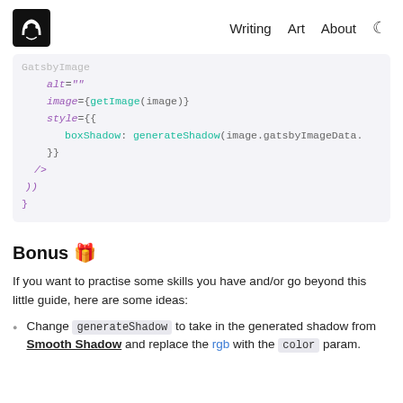Writing  Art  About
[Figure (screenshot): Code block showing JSX/React code with attributes: alt='', image={getImage(image)}, style={{ boxShadow: generateShadow(image.gatsbyImageData. }}, />]
Bonus 🎁
If you want to practise some skills you have and/or go beyond this little guide, here are some ideas:
Change generateShadow to take in the generated shadow from Smooth Shadow and replace the rgb with the color param.